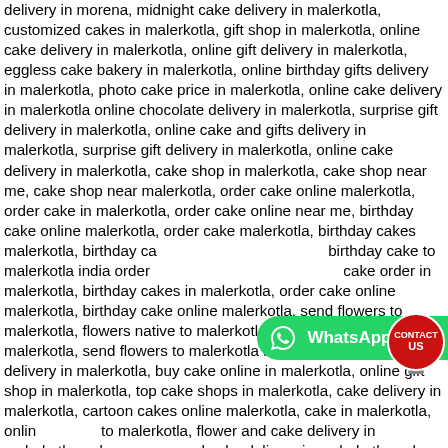delivery in morena, midnight cake delivery in malerkotla, customized cakes in malerkotla, gift shop in malerkotla, online cake delivery in malerkotla, online gift delivery in malerkotla, eggless cake bakery in malerkotla, online birthday gifts delivery in malerkotla, photo cake price in malerkotla, online cake delivery in malerkotla online chocolate delivery in malerkotla, surprise gift delivery in malerkotla, online cake and gifts delivery in malerkotla, surprise gift delivery in malerkotla, online cake delivery in malerkotla, cake shop in malerkotla, cake shop near me, cake shop near malerkotla, order cake online malerkotla, order cake in malerkotla, order cake online near me, birthday cake online malerkotla, order cake malerkotla, birthday cakes malerkotla, birthday cake delivery in malerkotla, birthday cake to malerkotla india order birthday cake in malerkotla, cake order in malerkotla, birthday cakes in malerkotla, order cake online malerkotla, birthday cake online malerkotla, send flowers to malerkotla, flowers native to malerkotla, send flowers to malerkotla, send flowers to malerkotla india, online birthday gift delivery in malerkotla, buy cake online in malerkotla, online gift shop in malerkotla, top cake shops in malerkotla, cake delivery in malerkotla, cartoon cakes online malerkotla, cake in malerkotla, online flowers to malerkotla, flower and cake delivery in malerkotla, online flowers and cake delivery in malerkotla, cake and flowers midnight delivery in malerkotla, birthday cake and flowers online delivery in malerkotla
[Figure (other): WhatsApp Chat button - green rounded button with WhatsApp icon and text 'WhatsApp Chat']
[Figure (other): Contact Us button - red circular button with spring/coil graphic and text 'CONTACT US']